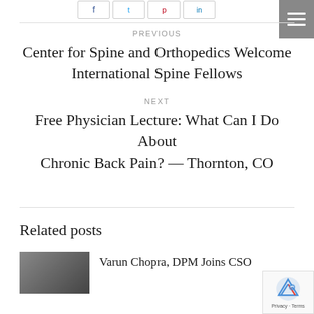[Figure (other): Social share buttons (Facebook, Twitter, Pinterest, LinkedIn) at top of page]
PREVIOUS
Center for Spine and Orthopedics Welcome International Spine Fellows
NEXT
Free Physician Lecture: What Can I Do About Chronic Back Pain? — Thornton, CO
Related posts
Varun Chopra, DPM Joins CSO